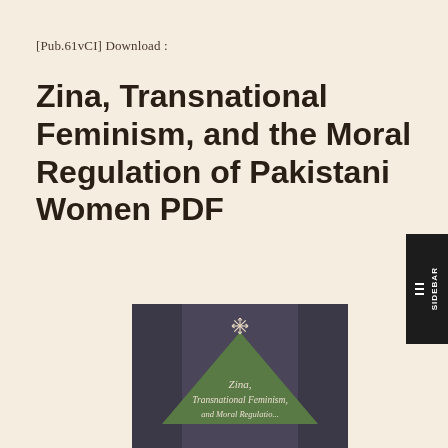[Pub.61vCI] Download :
Zina, Transnational Feminism, and the Moral Regulation of Pakistani Women PDF
[Figure (illustration): Book cover of 'Zina, Transnational Feminism, and the Moral Regulation of Pakistani Women' showing a dark purple/grey background with an olive green triangle shape in the center and a decorative snowflake-like symbol at the top. The title text appears in italic on the cover.]